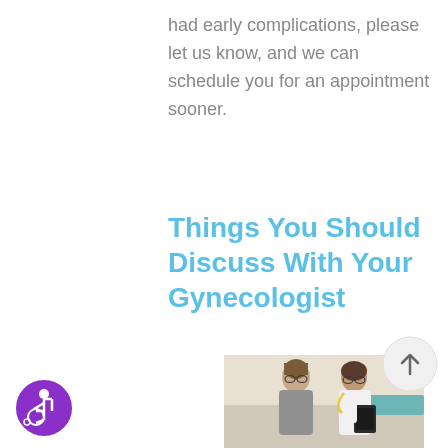had early complications, please let us know, and we can schedule you for an appointment sooner.
Things You Should Discuss With Your Gynecologist
[Figure (photo): A female patient wearing glasses and a grey top standing next to a female doctor in a white coat with a yellow stethoscope, who is holding a clipboard. They appear to be in a medical examination room.]